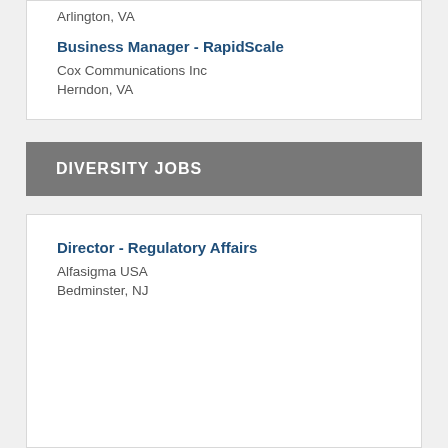Arlington, VA
Business Manager - RapidScale
Cox Communications Inc
Herndon, VA
DIVERSITY JOBS
Director - Regulatory Affairs
Alfasigma USA
Bedminster, NJ